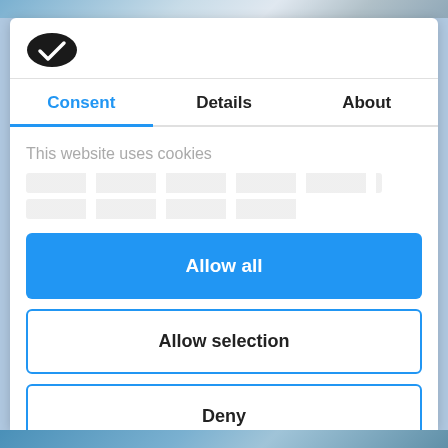[Figure (logo): Cookiebot logo — a dark oval cookie shape with a checkmark icon inside]
Consent | Details | About
This website uses cookies
[blurred/redacted body text]
Allow all
Allow selection
Deny
Powered by Cookiebot by Usercentrics